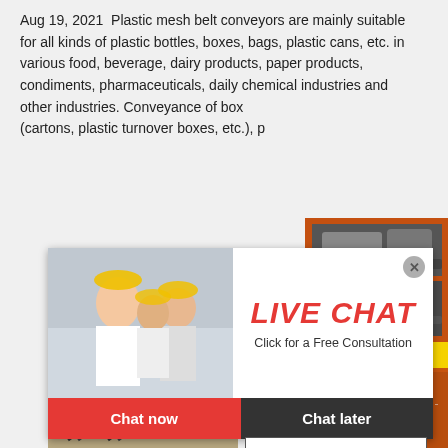Aug 19, 2021  Plastic mesh belt conveyors are mainly suitable for all kinds of plastic bottles, boxes, bags, plastic cans, etc. in various food, beverage, dairy products, paper products, condiments, pharmaceuticals, daily chemical industries and other industries. Conveyance of box (cartons, plastic turnover boxes, etc.), p...
[Figure (photo): Live chat popup with workers in yellow hard hats, LIVE CHAT heading in red italic, Chat now and Chat later buttons]
Conveying
[Figure (photo): Right sidebar with orange background showing mining/crushing machinery images, discount bar, enquiry section with email limingjlmofen@sina.com]
[Figure (photo): Bottom photo showing mining conveyor equipment outdoors]